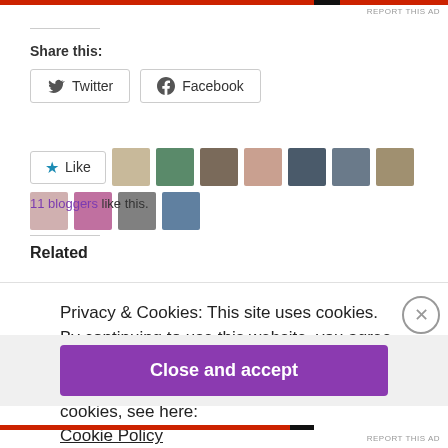REPORT THIS AD
Share this:
Twitter
Facebook
11 bloggers like this.
Related
Privacy & Cookies: This site uses cookies. By continuing to use this website, you agree to their use.
To find out more, including how to control cookies, see here:
Cookie Policy
Close and accept
REPORT THIS AD